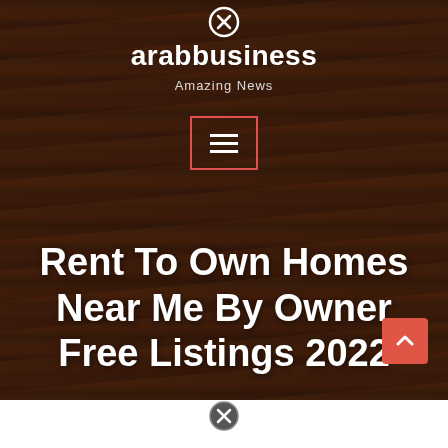[Figure (logo): arabbusiness website header with logo name and tagline 'Amazing News' on dark wood-textured background]
Rent To Own Homes Near Me By Owner Free Listings 2022